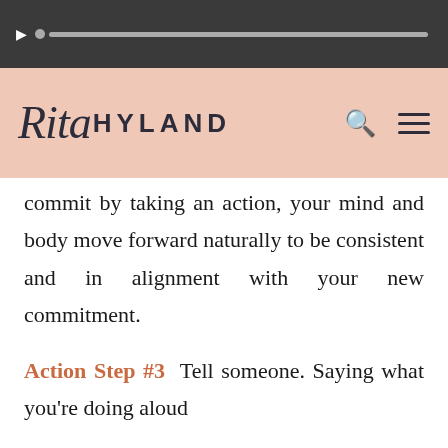[Figure (screenshot): Dark top bar with a play button, progress dot, and a grey progress bar indicating audio/video playback.]
[Figure (logo): Rita Hyland logo on a pink/salmon background, with search and hamburger menu icons on the right.]
commit by taking an action, your mind and body move forward naturally to be consistent and in alignment with your new commitment.
Action Step #3 Tell someone. Saying what you're doing aloud